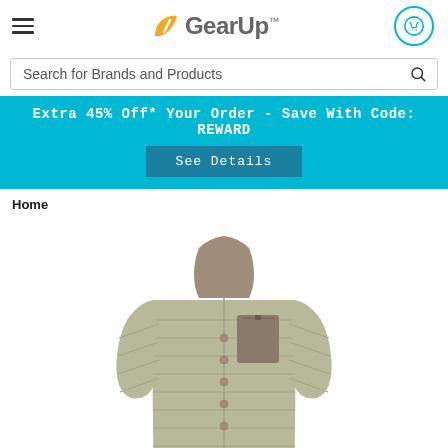GearUp™ — hamburger menu, logo, cart icon
Search for Brands and Products
Extra 45% Off* Your Order - Save With Code: REWARD
See Details
Home
[Figure (photo): A light sage green/tan puffer down jacket with brown/taupe chest pocket and snap buttons, photographed on a white background. The jacket has horizontal quilted stitching panels throughout.]